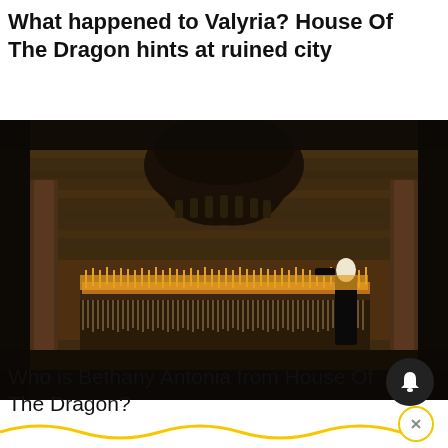What happened to Valyria? House Of The Dragon hints at ruined city
[Figure (photo): Dark cinematic scene from House Of The Dragon showing a grand hall with a large dragon skull mounted on the wall above an altar lined with many candles. Columns flank the sides. A figure in black robes stands at the altar.]
Who is Bethany Antonia from House Of The Dragon?